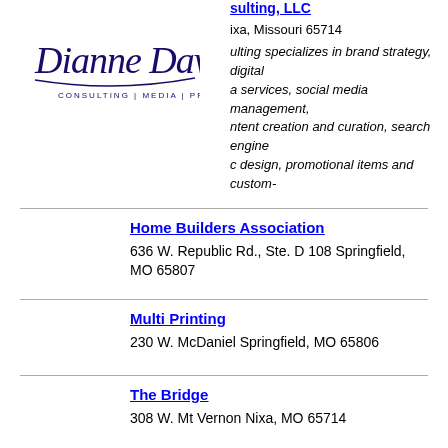[Figure (logo): Dianne Davis Consulting | Media | Promotion logo in dark blue cursive script]
sulting, LLC
ixa, Missouri 65714
ulting specializes in brand strategy, digital a services, social media management, ntent creation and curation, search engine c design, promotional items and custom-
Home Builders Association
636 W. Republic Rd., Ste. D 108 Springfield, MO 65807
Multi Printing
230 W. McDaniel Springfield, MO 65806
The Bridge
308 W. Mt Vernon Nixa, MO 65714